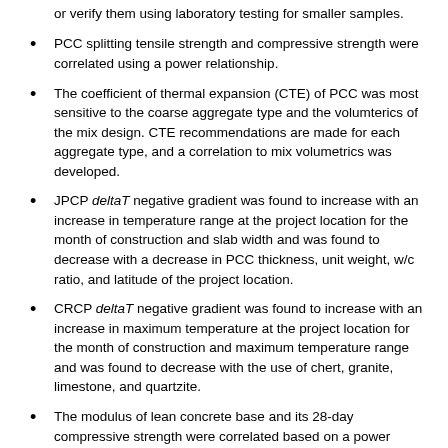or verify them using laboratory testing for smaller samples.
PCC splitting tensile strength and compressive strength were correlated using a power relationship.
The coefficient of thermal expansion (CTE) of PCC was most sensitive to the coarse aggregate type and the volumterics of the mix design. CTE recommendations are made for each aggregate type, and a correlation to mix volumetrics was developed.
JPCP deltaT negative gradient was found to increase with an increase in temperature range at the project location for the month of construction and slab width and was found to decrease with a decrease in PCC thickness, unit weight, w/c ratio, and latitude of the project location.
CRCP deltaT negative gradient was found to increase with an increase in maximum temperature at the project location for the month of construction and maximum temperature range and was found to decrease with the use of chert, granite, limestone, and quartzite.
The modulus of lean concrete base and its 28-day compressive strength were correlated based on a power model.